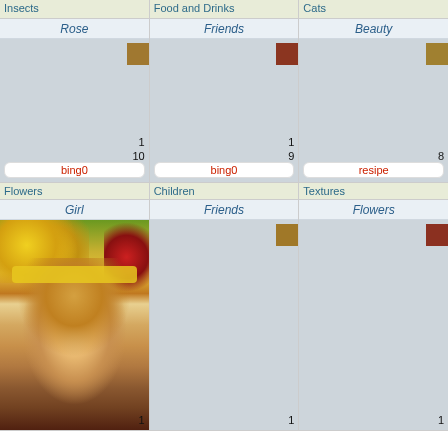Insects | Food and Drinks | Cats
Rose | Friends | Beauty
Flowers | Children | Textures
Girl | Friends | Flowers